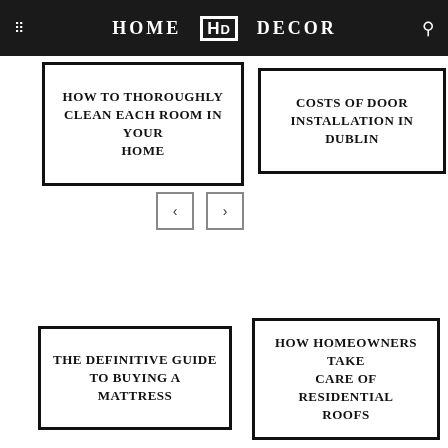HOME HD DECOR
HOW TO THOROUGHLY CLEAN EACH ROOM IN YOUR HOME
COSTS OF DOOR INSTALLATION IN DUBLIN
[Figure (other): Navigation previous and next arrow buttons]
THE DEFINITIVE GUIDE TO BUYING A MATTRESS
HOW HOMEOWNERS TAKE CARE OF RESIDENTIAL ROOFS